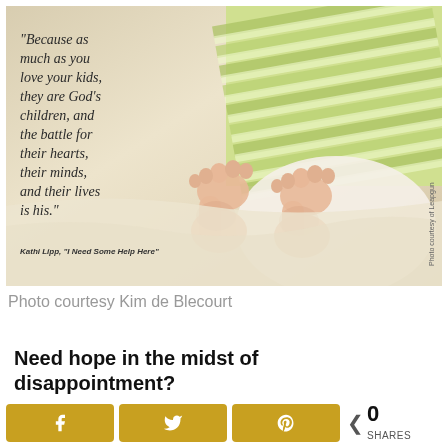[Figure (photo): Baby feet on white fabric with green-striped onesie in background, overlaid with a handwritten-style quote and attribution]
Photo courtesy Kim de Blecourt
Need hope in the midst of disappointment?
[Figure (infographic): Share bar with Facebook, Twitter, Pinterest buttons in gold/yellow, share count showing 0 SHARES]